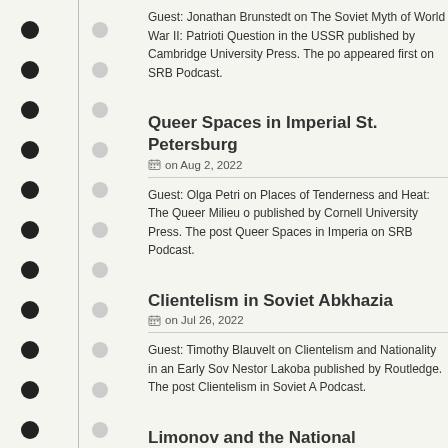Guest: Jonathan Brunstedt on The Soviet Myth of World War II: Patriotic Memory and the Russian Question in the USSR published by Cambridge University Press. The post appeared first on SRB Podcast.
Queer Spaces in Imperial St. Petersburg
on Aug 2, 2022
Guest: Olga Petri on Places of Tenderness and Heat: The Queer Milieu of published by Cornell University Press. The post Queer Spaces in Imperial on SRB Podcast.
Clientelism in Soviet Abkhazia
on Jul 26, 2022
Guest: Timothy Blauvelt on Clientelism and Nationality in an Early Soviet Nestor Lakoba published by Routledge. The post Clientelism in Soviet A Podcast.
Limonov and the National Bolsheviks
on Jul 14, 2022
Guest: Fabrizio Fenghi on It Will Be Fun and Terrifying: Nationalism a